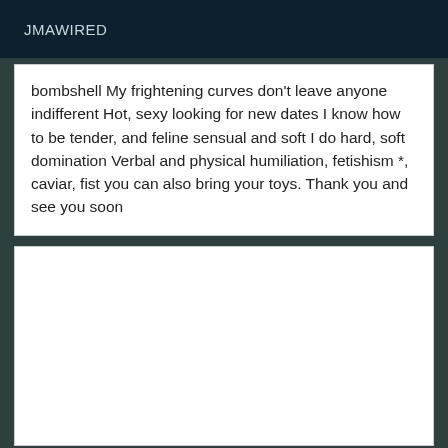JMAWIRED
bombshell My frightening curves don't leave anyone indifferent Hot, sexy looking for new dates I know how to be tender, and feline sensual and soft I do hard, soft domination Verbal and physical humiliation, fetishism *, caviar, fist you can also bring your toys. Thank you and see you soon